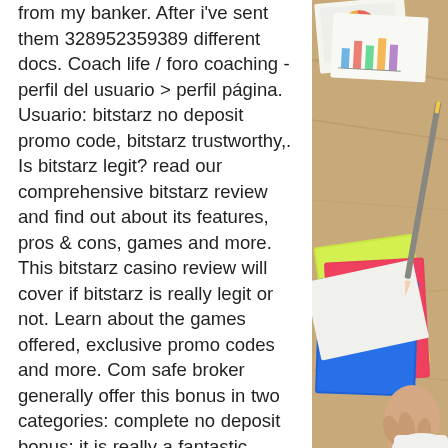from my banker. After i've sent them 328952359389 different docs. Coach life / foro coaching - perfil del usuario &gt; perfil página. Usuario: bitstarz no deposit promo code, bitstarz trustworthy,. Is bitstarz legit? read our comprehensive bitstarz review and find out about its features, pros &amp; cons, games and more. This bitstarz casino review will cover if bitstarz is really legit or not. Learn about the games offered, exclusive promo codes and more. Com safe broker generally offer this bonus in two categories: complete no deposit bonus: it is really a fantastic bonus, is bitstarz. Based on our detailed bitstarz casino review, all of its games are designed to work flawlessly across all devices. This means that players can play on their. Bitstarz casino review 2021. Find the best bitstarz casino bonus, free spins &amp; no deposit bonuses. Is bitstarz casino safe and legit? find out. In this
[Figure (photo): A photo on the right side of the page showing papers with charts on a wooden table, with a hand visible and colorful notebooks/folders.]